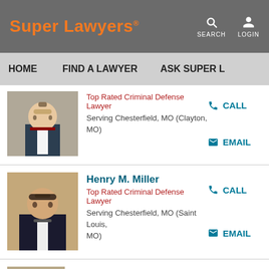Super Lawyers
HOME   FIND A LAWYER   ASK SUPER L...
Top Rated Criminal Defense Lawyer
Serving Chesterfield, MO (Clayton, MO)
CALL
EMAIL
Henry M. Miller
Top Rated Criminal Defense Lawyer
Serving Chesterfield, MO (Saint Louis, MO)
CALL
EMAIL
Richard H. Sindel
Top Rated Criminal Defense Lawyer